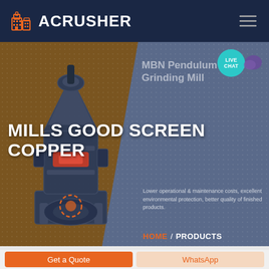[Figure (logo): Acrusher company logo with orange building icon and white text ACRUSHER on dark navy background]
[Figure (screenshot): Website hero banner screenshot showing MILLS GOOD SCREEN COPPER heading, MBN Pendulum Roller Grinding Mill product card, crusher machine image, breadcrumb navigation HOME / PRODUCTS, and LIVE CHAT bubble]
MILLS GOOD SCREEN COPPER
MBN Pendulum Roller Grinding Mill
Lower operational & maintenance costs, excellent environmental protection, better quality of finished products.
HOME  /  PRODUCTS
Get a Quote
WhatsApp